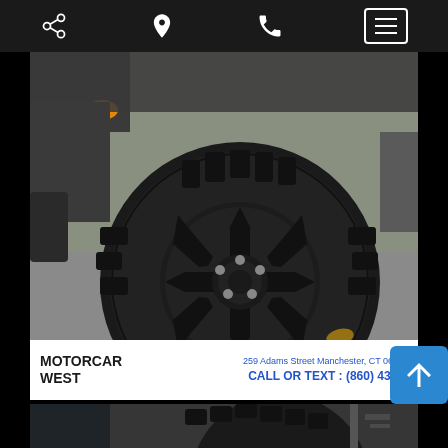Mobile app navigation bar with share, location, phone, and menu icons
[Figure (photo): Close-up photo of a black off-road tire and wheel on a Jeep vehicle, shot from above on a grey asphalt surface. The wheel has a multi-spoke black alloy rim and aggressive mud-terrain tires.]
MOTORCAR WEST
259 Adams Street Manchester, CT 06042
CALL OR TEXT : (860) 431-3
[Figure (photo): Partial view of a second Jeep tire and wheel in a dark wheel well, showing the same style mud-terrain tire from a different angle.]